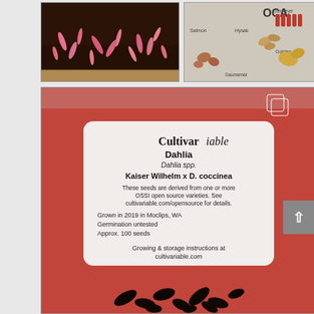[Figure (photo): Photo of pink seedlings sprouting from dark soil in a tray, viewed from above]
[Figure (photo): Photo of OCA variety chart showing labeled tubers and seeds including Salmon, Hysak, Saunamai, Golden, and Sockeye varieties]
[Figure (photo): Photo of a Cultivariable seed packet for Dahlia (Dahlia spp.) Kaiser Wilhelm x D. coccinea, red background, with label text and dark dahlia seeds visible at bottom]